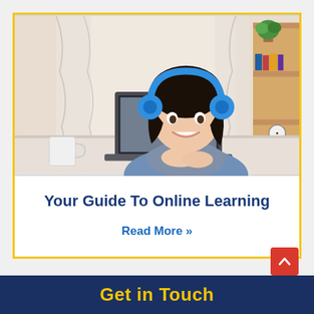[Figure (photo): Young Asian woman wearing blue headphones, smiling at a laptop computer, sitting at a desk with a coffee mug, indoors with shelving and curtains in the background]
Your Guide To Online Learning
Read More »
Get in Touch